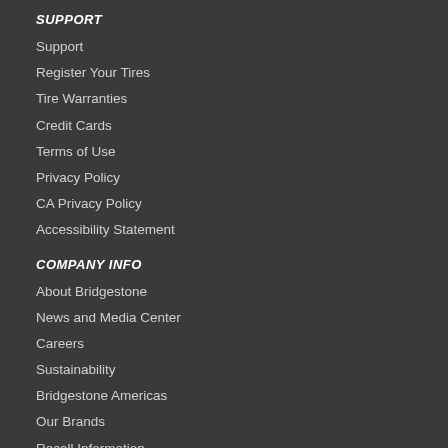SUPPORT
Support
Register Your Tires
Tire Warranties
Credit Cards
Terms of Use
Privacy Policy
CA Privacy Policy
Accessibility Statement
COMPANY INFO
About Bridgestone
News and Media Center
Careers
Sustainability
Bridgestone Americas
Our Brands
Recall Information